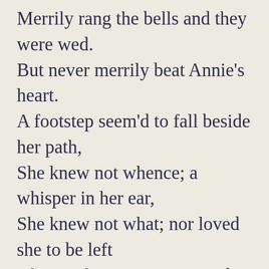Merrily rang the bells and they were wed. But never merrily beat Annie's heart. A footstep seem'd to fall beside her path, She knew not whence; a whisper in her ear, She knew not what; nor loved she to be left Alone at home, nor ventured out alone. What ail'd her then, that ere she enter'd, often Her hand dwelt lingeringly on the latch, Fearing to enter: Philip thought he knew: Such doubts and fears were common to her state.